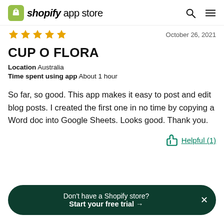shopify app store
October 26, 2021
CUP O FLORA
Location  Australia
Time spent using app  About 1 hour
So far, so good. This app makes it easy to post and edit blog posts. I created the first one in no time by copying a Word doc into Google Sheets. Looks good. Thank you.
Helpful (1)
Don't have a Shopify store? Start your free trial →